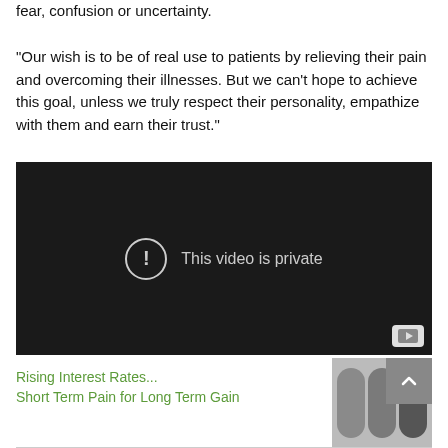fear, confusion or uncertainty.
“Our wish is to be of real use to patients by relieving their pain and overcoming their illnesses. But we can’t hope to achieve this goal, unless we truly respect their personality, empathize with them and earn their trust.”
[Figure (screenshot): Embedded video player with dark background showing 'This video is private' message with a circle exclamation icon and a YouTube play button in the bottom right corner.]
Rising Interest Rates... Short Term Pain for Long Term Gain